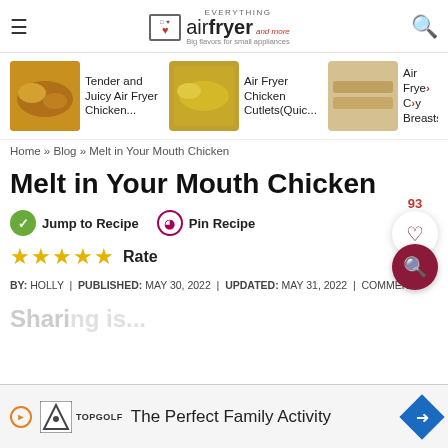Everything Air Fryer and More — Big flavors for small appliances
[Figure (screenshot): Navigation strip with three related article thumbnails: 'Tender and Juicy Air Fryer Chicken...', 'Air Fryer Chicken Cutlets(Quic...', 'Air Fryer Crispy Chicken Breasts']
Home » Blog » Melt in Your Mouth Chicken
Melt in Your Mouth Chicken
Jump to Recipe | Pin Recipe
★★★★★ Rate
BY: HOLLY | PUBLISHED: MAY 30, 2022 | UPDATED: MAY 31, 2022 | COMMENT
Sharing is...
[Figure (screenshot): Advertisement banner: TopGolf — The Perfect Family Activity]